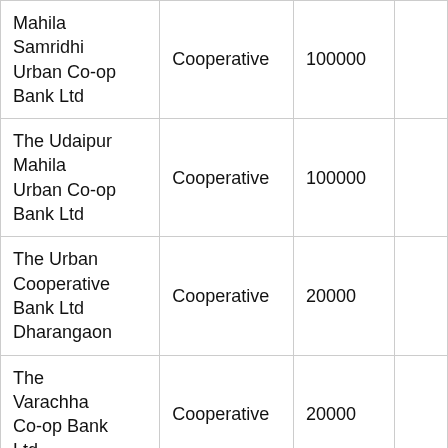| Mahila Samridhi Urban Co-op Bank Ltd | Cooperative | 100000 |  |
| The Udaipur Mahila Urban Co-op Bank Ltd | Cooperative | 100000 |  |
| The Urban Cooperative Bank Ltd Dharangaon | Cooperative | 20000 |  |
| The Varachha Co-op Bank Ltd | Cooperative | 20000 |  |